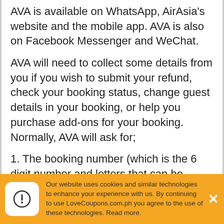AVA is available on WhatsApp, AirAsia's website and the mobile app. AVA is also on Facebook Messenger and WeChat.
AVA will need to collect some details from you if you wish to submit your refund, check your booking status, change guest details in your booking, or help you purchase add-ons for your booking. Normally, AVA will ask for;
1. The booking number (which is the 6 digit number and letters that can be found from your travel itinerary)
2. The email address provided when you made the booking, email where you had received your travel itinerary.
3. Your last name / given name
Our website uses cookies and similar technologies to enhance your experience with us. By continuing to use LoveCoupons.com.ph you agree to the use of these technologies. Read more.